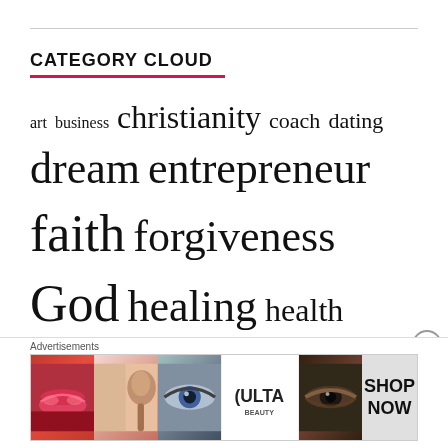CATEGORY CLOUD
[Figure (infographic): Tag cloud with words of varying sizes: art, business, christianity, coach, dating, dream, entrepreneur, faith, forgiveness, God, healing, health, Hollywood, jesus, law of attraction, lawofattraction, lifecoach, lifehack, love, prophetic word, psychology, relationship, Relationships, self-help, solo travel, spirituality, therapy (partially visible), travel (partially visible)]
Advertisements
[Figure (photo): Ulta Beauty advertisement banner showing makeup imagery (lips, brush, eyes) and ULTA logo with SHOP NOW text]